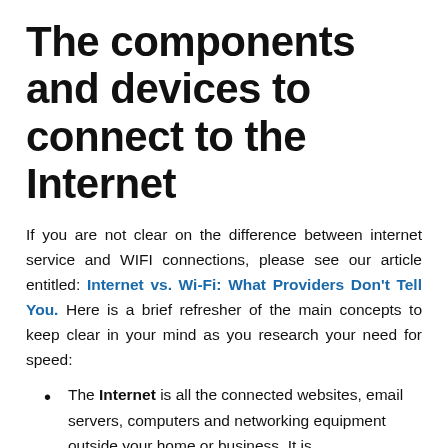The components and devices to connect to the Internet
If you are not clear on the difference between internet service and WIFI connections, please see our article entitled: Internet vs. Wi-Fi: What Providers Don't Tell You. Here is a brief refresher of the main concepts to keep clear in your mind as you research your need for speed:
The Internet is all the connected websites, email servers, computers and networking equipment outside your home or business. It is